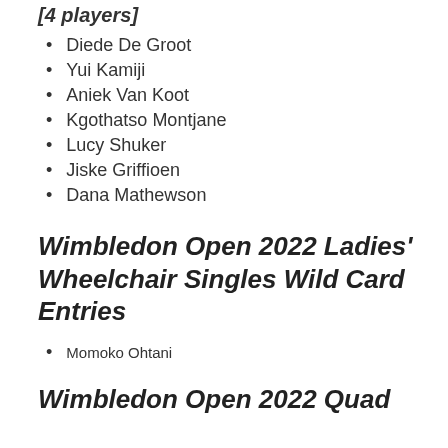[4 players]
Diede De Groot
Yui Kamiji
Aniek Van Koot
Kgothatso Montjane
Lucy Shuker
Jiske Griffioen
Dana Mathewson
Wimbledon Open 2022 Ladies' Wheelchair Singles Wild Card Entries
Momoko Ohtani
Wimbledon Open 2022 Quad